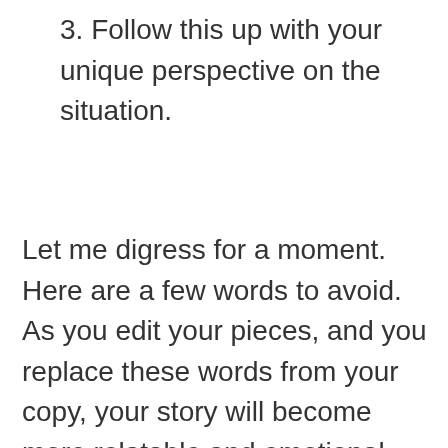3. Follow this up with your unique perspective on the situation.
Let me digress for a moment. Here are a few words to avoid. As you edit your pieces, and you replace these words from your copy, your story will become more relatable and emotional.